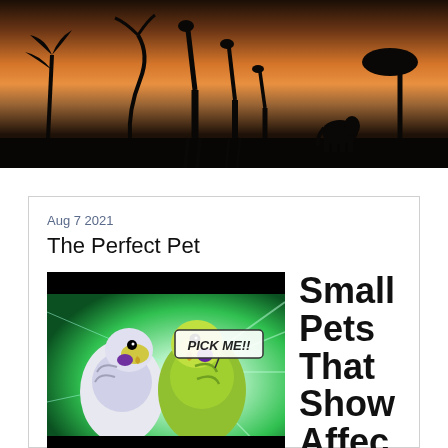[Figure (photo): Safari sunset banner with silhouettes of giraffes and an elephant against an orange and purple sky with acacia trees]
Aug 7 2021
The Perfect Pet
[Figure (photo): Two budgerigar parakeets with comic book style 'PICK ME!!' text overlay and green radial light effects]
Small Pets That Show Affec